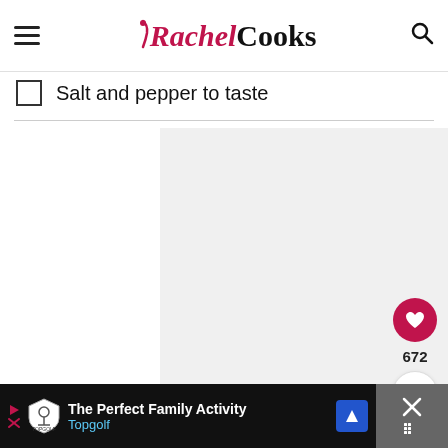Rachel Cooks
Salt and pepper to taste
[Figure (other): Advertisement placeholder image area (light gray background)]
[Figure (other): Floating heart/like button with count 672 and share button]
[Figure (other): Bottom advertisement banner: The Perfect Family Activity - Topgolf]